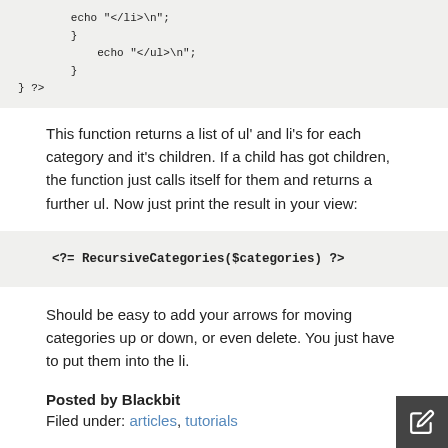[Figure (screenshot): Code block showing PHP echo statements: echo "</li>\n"; } echo "</ul>\n"; } ?>]
This function returns a list of ul' and li's for each category and it's children. If a child has got children, the function just calls itself for them and returns a further ul. Now just print the result in your view:
[Figure (screenshot): Code block showing: <?= RecursiveCategories($categories) ?>]
Should be easy to add your arrows for moving categories up or down, or even delete. You just have to put them into the li.
Posted by Blackbit
Filed under: articles, tutorials